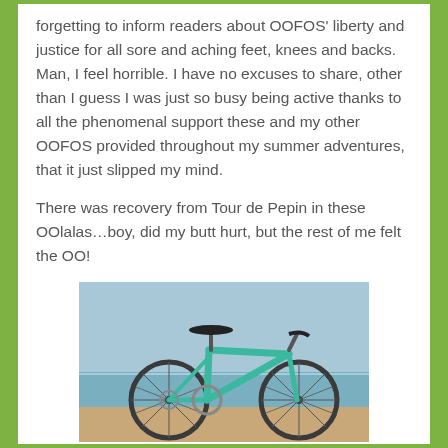forgetting to inform readers about OOFOS' liberty and justice for all sore and aching feet, knees and backs. Man, I feel horrible. I have no excuses to share, other than I guess I was just so busy being active thanks to all the phenomenal support these and my other OOFOS provided throughout my summer adventures, that it just slipped my mind.
There was recovery from Tour de Pepin in these OOlalas…boy, did my butt hurt, but the rest of me felt the OO!
[Figure (photo): A teal/turquoise road bicycle photographed near a body of water, showing the frame, front wheel, handlebars and saddle against a sky and water background.]